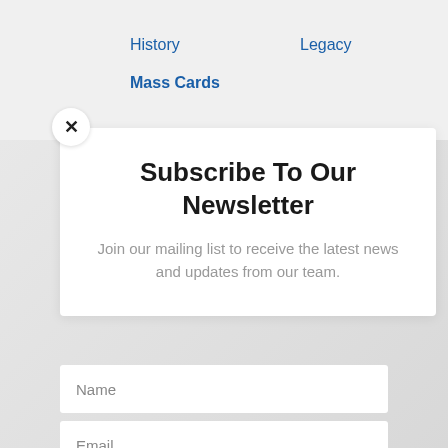History   Legacy   Mass Cards
Subscribe To Our Newsletter
Join our mailing list to receive the latest news and updates from our team.
Name
Email
SUBSCRIBE